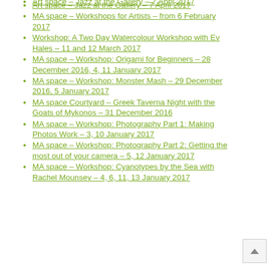Art space – Jazz at the Gallery – 7 April 2017
MA space – Workshops for Artists – from 6 February 2017
Workshop: A Two Day Watercolour Workshop with Ev Hales – 11 and 12 March 2017
MA space – Workshop: Origami for Beginners – 28 December 2016, 4, 11 January 2017
MA space – Workshop: Monster Mash – 29 December 2016, 5 January 2017
MA space Courtyard – Greek Taverna Night with the Goats of Mykonos – 31 December 2016
MA space – Workshop: Photography Part 1: Making Photos Work – 3, 10 January 2017
MA space – Workshop: Photography Part 2: Getting the most out of your camera – 5, 12 January 2017
MA space – Workshop: Cyanotypes by the Sea with Rachel Mounsey – 4, 6, 11, 13 January 2017